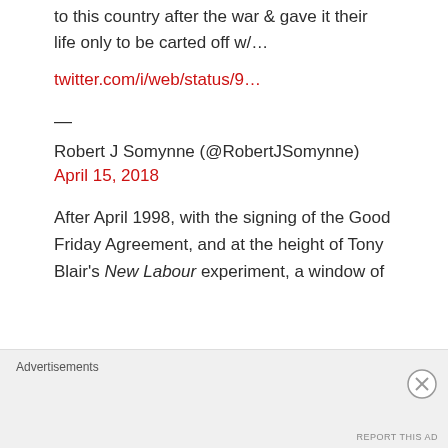to this country after the war & gave it their life only to be carted off w/…
twitter.com/i/web/status/9…
—
Robert J Somynne (@RobertJSomynne)
April 15, 2018
After April 1998, with the signing of the Good Friday Agreement, and at the height of Tony Blair's New Labour experiment, a window of
Advertisements